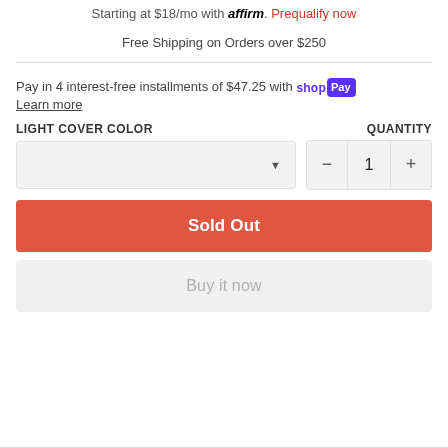Starting at $18/mo with affirm. Prequalify now
Free Shipping on Orders over $250
Pay in 4 interest-free installments of $47.25 with shop Pay
Learn more
LIGHT COVER COLOR
QUANTITY
Sold Out
Buy it now